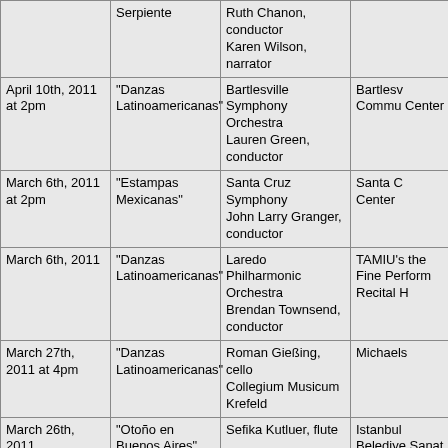| Date | Program | Performers | Venue |
| --- | --- | --- | --- |
|  | Serpiente | Ruth Chanon, conductor
Karen Wilson, narrator |  |
| April 10th, 2011 at 2pm | "Danzas Latinoamericanas" | Bartlesville Symphony Orchestra
Lauren Green, conductor | Bartlesville Community Center |
| March 6th, 2011 at 2pm | "Estampas Mexicanas" | Santa Cruz Symphony
John Larry Granger, conductor | Santa Cruz Center |
| March 6th, 2011 | "Danzas Latinoamericanas" | Laredo Philharmonic Orchestra
Brendan Townsend, conductor | TAMIU's the Fine Performing Recital H |
| March 27th, 2011 at 4pm | "Danzas Latinoamericanas" | Roman Gießing, cello
Collegium Musicum Krefeld | Michaels |
| March 26th, 2011 | "Otoño en Buenos Aires"
"Princesa de Hadas" | Sefika Kutluer, flute | Istanbul Belediye Sanat C |
| March 16th, 2011 | "Otoño en Buenos Aires"
"Princesa de Hadas" | Sefika Kutluer, flute | Gaziantep Belediye Hall |
| March 11th, 2011 at 7pm | "Danzas Latinoamericanas" | Carlos Prieto, cello
Jesús Castro-Balbi, cello | PepsiCo Hall at T Christian |
| February 6th, 2011 at 2pm | "Danzas Latinoamericanas" | Bartlesville Symphony Orchestra
Lauren Green, | Bartlesville Community Center |